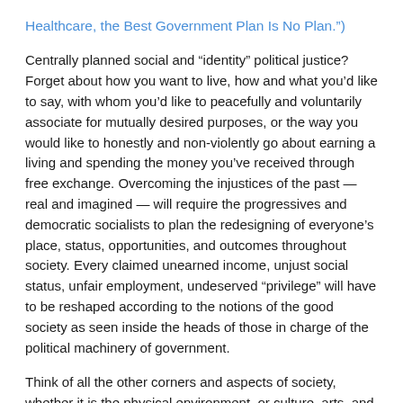Healthcare, the Best Government Plan Is No Plan.")
Centrally planned social and “identity” political justice? Forget about how you want to live, how and what you’d like to say, with whom you’d like to peacefully and voluntarily associate for mutually desired purposes, or the way you would like to honestly and non-violently go about earning a living and spending the money you’ve received through free exchange. Overcoming the injustices of the past — real and imagined — will require the progressives and democratic socialists to plan the redesigning of everyone’s place, status, opportunities, and outcomes throughout society. Every claimed unearned income, unjust social status, unfair employment, undeserved “privilege” will have to be reshaped according to the notions of the good society as seen inside the heads of those in charge of the political machinery of government.
Think of all the other corners and aspects of society, whether it is the physical environment, or culture, arts, and sciences, or